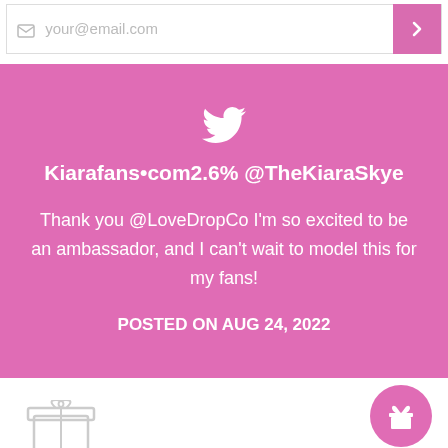your@email.com
Kiarafans•com2.6% @TheKiaraSkye
Thank you @LoveDropCo I'm so excited to be an ambassador, and I can't wait to model this for my fans!
POSTED ON AUG 24, 2022